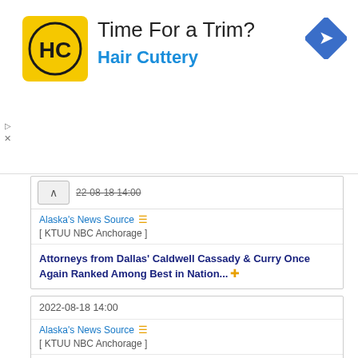[Figure (advertisement): Hair Cuttery ad banner: HC logo (black HC letters on yellow square), headline 'Time For a Trim?', subtext 'Hair Cuttery' in blue, navigation/directions icon top right, ad controls (play/close) on left side]
22-08-18 14:00 [partially visible, struck-through date]
Alaska's News Source  [ KTUU NBC Anchorage ]
Attorneys from Dallas' Caldwell Cassady & Curry Once Again Ranked Among Best in Nation... +
2022-08-18 14:00
Alaska's News Source  [ KTUU NBC Anchorage ]
Stream Data Centers Welcomes Mike Lebow as SVP, Location Strategy and Development... +
2022-08-18 14:00